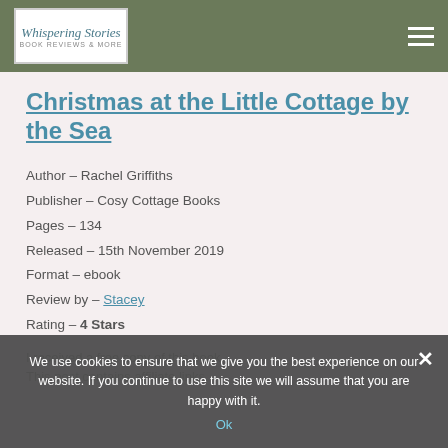Whispering Stories
Christmas at the Little Cottage by the Sea
Author – Rachel Griffiths
Publisher – Cosy Cottage Books
Pages – 134
Released – 15th November 2019
Format – ebook
Review by – Stacey
Rating – 4 Stars
I received a free copy of this book...
This post contains affiliate links.
We use cookies to ensure that we give you the best experience on our website. If you continue to use this site we will assume that you are happy with it.